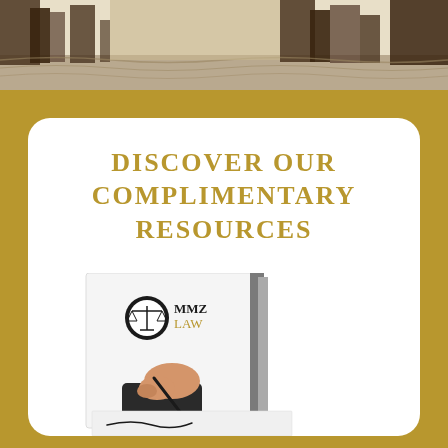[Figure (photo): Top banner photo showing water reflections with dark silhouettes]
DISCOVER OUR COMPLIMENTARY RESOURCES
[Figure (illustration): MMZ Law brochure/book cover with logo showing scales of justice, and a person's hand signing a document with a pen]